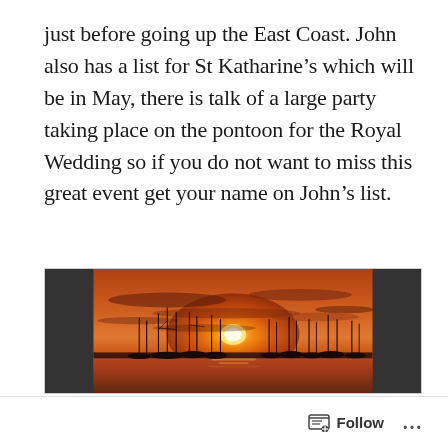just before going up the East Coast. John also has a list for St Katharine’s which will be in May, there is talk of a large party taking place on the pontoon for the Royal Wedding so if you do not want to miss this great event get your name on John’s list.
[Figure (photo): A sunset photograph showing sailboats moored on calm water with a vivid orange and red sky, the sun just above the horizon silhouetting the masts.]
Follow ...